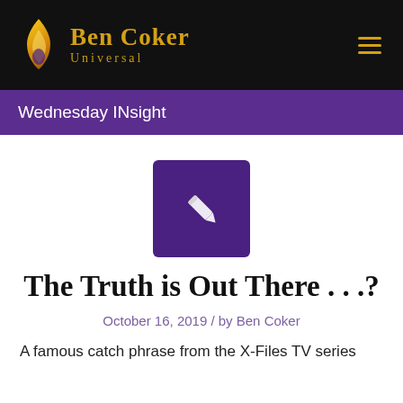Ben Coker Universal
Wednesday INsight
[Figure (illustration): Purple square icon with a white pencil/edit symbol]
The Truth is Out There . . .?
October 16, 2019 / by Ben Coker
A famous catch phrase from the X-Files TV series